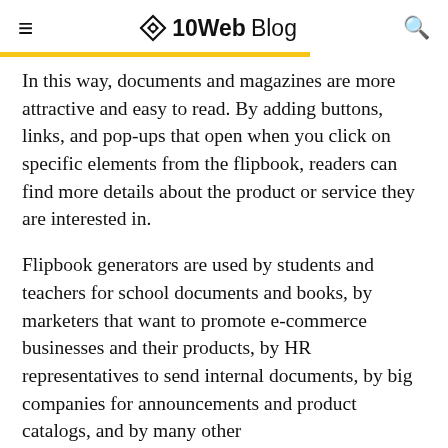≡  ◈ 10Web Blog  🔍
In this way, documents and magazines are more attractive and easy to read. By adding buttons, links, and pop-ups that open when you click on specific elements from the flipbook, readers can find more details about the product or service they are interested in.
Flipbook generators are used by students and teachers for school documents and books, by marketers that want to promote e-commerce businesses and their products, by HR representatives to send internal documents, by big companies for announcements and product catalogs, and by many other…